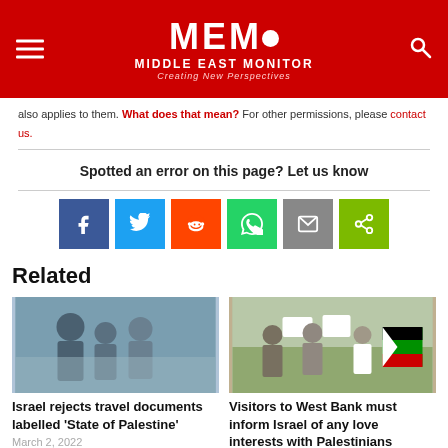MEMO - MIDDLE EAST MONITOR - Creating New Perspectives
also applies to them. What does that mean? For other permissions, please contact us.
Spotted an error on this page? Let us know
[Figure (infographic): Social share buttons: Facebook, Twitter, Reddit, WhatsApp, Email, Share]
Related
[Figure (photo): Photo of people with masks outdoors]
Israel rejects travel documents labelled 'State of Palestine'
March 2, 2022
[Figure (photo): Photo of protesters holding signs and Palestinian flag]
Visitors to West Bank must inform Israel of any love interests with Palestinians